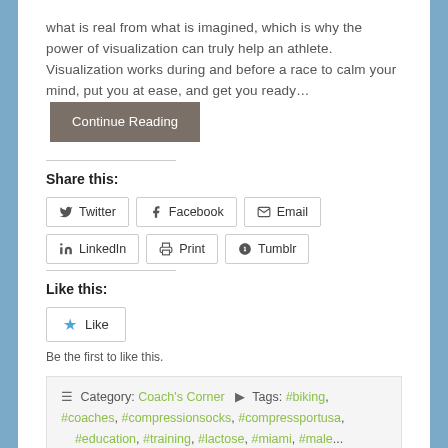what is real from what is imagined, which is why the power of visualization can truly help an athlete. Visualization works during and before a race to calm your mind, put you at ease, and get you ready… Continue Reading
Share this:
Twitter Facebook Email LinkedIn Print Tumblr
Like this:
Like
Be the first to like this.
Category: Coach's Corner  Tags: #biking, #coaches, #compressionsocks, #compressportusa, #education, #training, #lactose, #miami, #male...